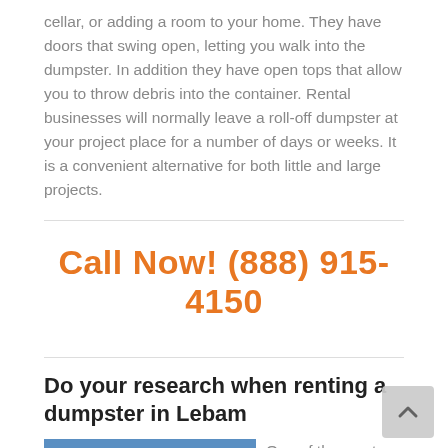cellar, or adding a room to your home. They have doors that swing open, letting you walk into the dumpster. In addition they have open tops that allow you to throw debris into the container. Rental businesses will normally leave a roll-off dumpster at your project place for a number of days or weeks. It is a convenient alternative for both little and large projects.
Call Now! (888) 915-4150
Do your research when renting a dumpster in Lebam
[Figure (photo): Photo of an orange dumpster against a blue sky]
One of the most significant things to do